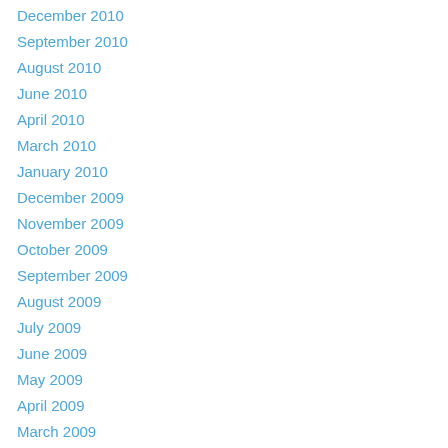December 2010
September 2010
August 2010
June 2010
April 2010
March 2010
January 2010
December 2009
November 2009
October 2009
September 2009
August 2009
July 2009
June 2009
May 2009
April 2009
March 2009
February 2009
January 2009
November 2008